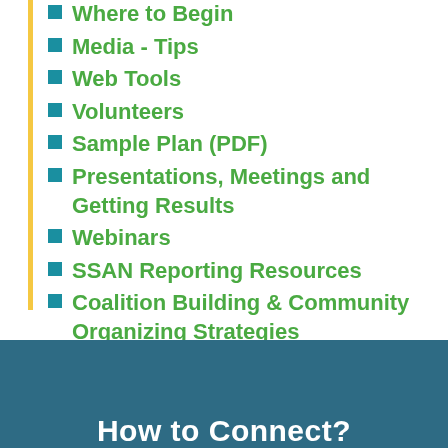Where to Begin
Media - Tips
Web Tools
Volunteers
Sample Plan (PDF)
Presentations, Meetings and Getting Results
Webinars
SSAN Reporting Resources
Coalition Building & Community Organizing Strategies
Advancing the Independent Living Movement
Back to Basics
Advocacy and Lobbying Guidance
Get Out The Vote
Additional Resources
How to Connect?